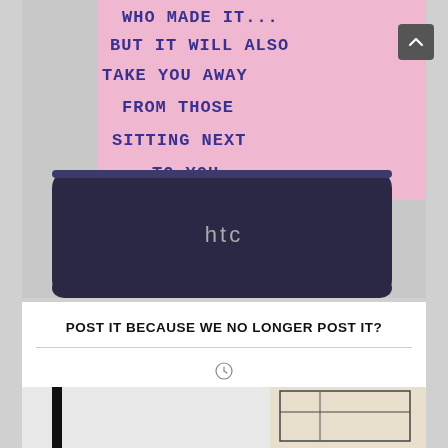[Figure (photo): Photo of a pink sticky note placed on top of an HTC smartphone. The handwritten note reads: '...BUT IT WILL ALSO TAKE YOU AWAY FROM THOSE SITTING NEXT TO YOU...']
POST IT BECAUSE WE NO LONGER POST IT?
[Figure (photo): Partially visible image at the bottom of the page showing two partial photographs side by side.]